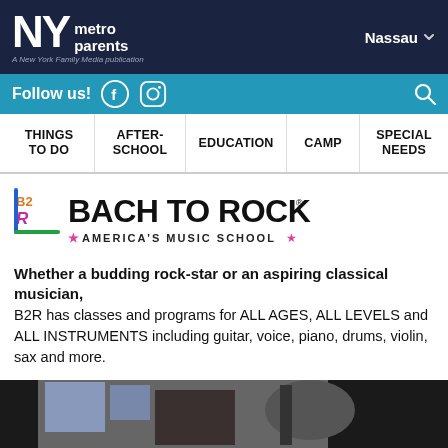NY metro parents — A New York Family Media publication | Nassau
Follow us! | Nassau
THINGS TO DO | AFTER-SCHOOL | EDUCATION | CAMP | SPECIAL NEEDS
[Figure (logo): Bach to Rock — America's Music School logo with B2R badge and star accents]
Whether a budding rock-star or an aspiring classical musician, B2R has classes and programs for ALL AGES, ALL LEVELS and ALL INSTRUMENTS including guitar, voice, piano, drums, violin, sax and more.
[Figure (photo): Partial photo at bottom showing a music student at drums]